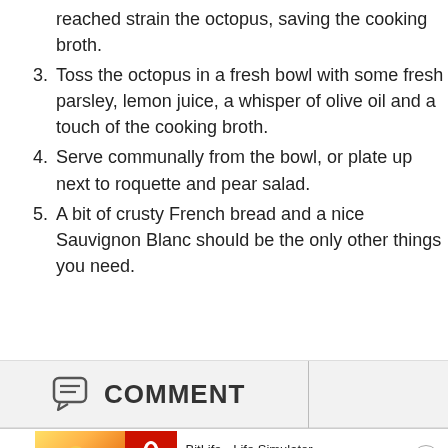2. reached strain the octopus, saving the cooking broth.
3. Toss the octopus in a fresh bowl with some fresh parsley, lemon juice, a whisper of olive oil and a touch of the cooking broth.
4. Serve communally from the bowl, or plate up next to roquette and pear salad.
5. A bit of crusty French bread and a nice Sauvignon Blanc should be the only other things you need.
[Figure (other): Comment button bar with speech bubble icon and COMMENT text label, followed by a vertical divider line]
[Figure (other): Advertisement banner for BitLife - Life Simulator app with Ad badge, cartoon image, red logo, app name, and Install button]